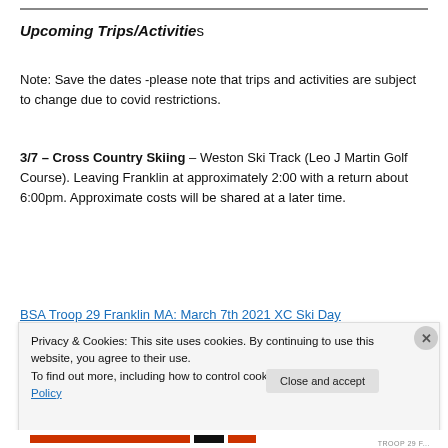Upcoming Trips/Activities
Note: Save the dates -please note that trips and activities are subject to change due to covid restrictions.
3/7 – Cross Country Skiing – Weston Ski Track (Leo J Martin Golf Course). Leaving Franklin at approximately 2:00 with a return about 6:00pm. Approximate costs will be shared at a later time.
BSA Troop 29 Franklin MA: March 7th 2021 XC Ski Day
Privacy & Cookies: This site uses cookies. By continuing to use this website, you agree to their use.
To find out more, including how to control cookies, see here: Cookie Policy
Close and accept